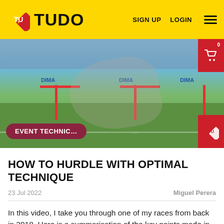TUDO   SIGN UP   LOGIN
[Figure (photo): Athlete jumping over red hurdles on a track with DIMA branding on hurdles, crowd in background]
HOW TO HURDLE WITH OPTIMAL TECHNIQUE
23 Jul 2022   Miguel Perera
In this video, I take you through one of my races from back in 2018. Here is a summarisation of the key points made in my video. 7 & 8 Stride approach Since the 7 stride approach made its popularised...